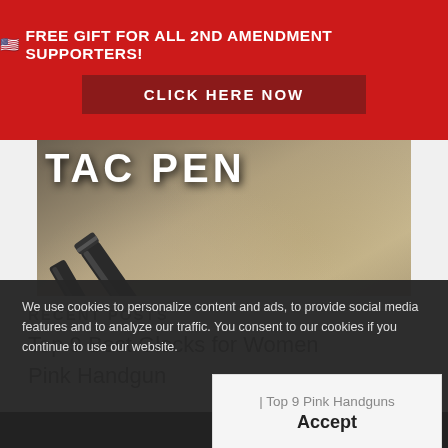🇺🇸 FREE GIFT FOR ALL 2ND AMENDMENT SUPPORTERS!
CLICK HERE NOW
[Figure (photo): Tactical pen (Hoffman Richter Tac Pen) resting on rocks, with promotional text: GET $5 OFF, CLICK HERE, GET YOUR HOFFMAN RICHTER TAC PEN BEFORE SUPPLIES RUN OUT!]
We use cookies to personalize content and ads, to provide social media features and to analyze our traffic. You consent to our cookies if you continue to use our website.
RECENT POSTS
Top 9 Best Glocks for Women
Pink Handgun | Top 9 Pink Handguns for You
Accept